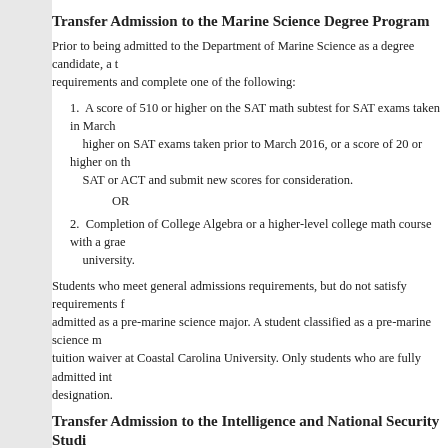Transfer Admission to the Marine Science Degree Program
Prior to being admitted to the Department of Marine Science as a degree candidate, a transfer student must meet the general admissions requirements and complete one of the following:
1. A score of 510 or higher on the SAT math subtest for SAT exams taken in March 2016 or later, a score of 500 or higher on SAT exams taken prior to March 2016, or a score of 20 or higher on the ACT math subtest. Students not meeting this requirement may retake the SAT or ACT and submit new scores for consideration.
OR
2. Completion of College Algebra or a higher-level college math course with a grade of C or better at an accredited college or university.
Students who meet general admissions requirements, but do not satisfy requirements for departmental admission, may be admitted as a pre-marine science major. A student classified as a pre-marine science major is not eligible for the out-of-state tuition waiver at Coastal Carolina University. Only students who are fully admitted into the major carry the marine science designation.
Transfer Admission to the Intelligence and National Security Studies
Prior to being admitted to the Department of Politics as an Intelligence and National Security Studies major, a student must meet the general admissions requirements and must meet one of the following requirements:
1. A score of 1040 or higher on the SAT (exams taken prior to March 2016) or 1120 or higher on the SAT (exams taken in March 2016 or later), or higher on the ACT exam;
AND